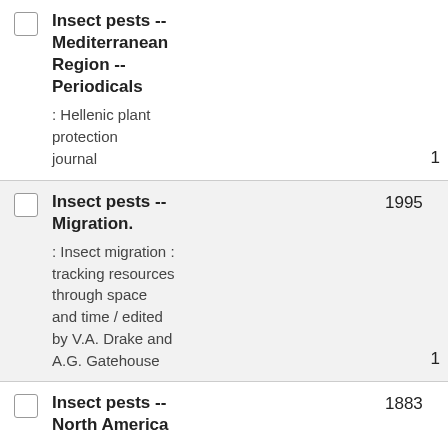Insect pests -- Mediterranean Region -- Periodicals : Hellenic plant protection journal 1
Insect pests -- Migration. 1995 : Insect migration : tracking resources through space and time / edited by V.A. Drake and A.G. Gatehouse 1
Insect pests -- North America 1883